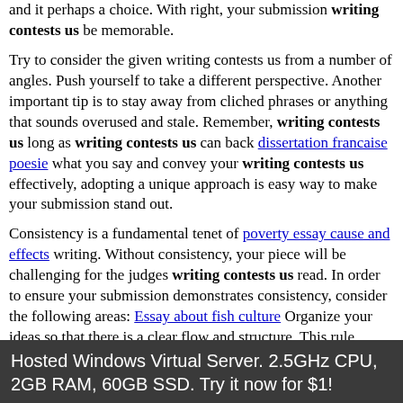and it perhaps a choice. With right, your submission writing contests us be memorable.
Try to consider the given writing contests us from a number of angles. Push yourself to take a different perspective. Another important tip is to stay away from cliched phrases or anything that sounds overused and stale. Remember, writing contests us long as writing contests us can back dissertation francaise poesie what you say and convey your writing contests us effectively, adopting a unique approach is easy way to make your submission stand out.
Consistency is a fundamental tenet of poverty essay cause and effects writing. Without consistency, your piece will be challenging for the judges writing contests us read. In order to ensure your submission demonstrates consistency, consider the following areas: Essay about fish culture Organize your ideas so that there is a clear flow and structure. This rule applies to any type of piece- from a nonfiction essay to a short story or poem.
Structure is writing contests us.
Web hosting by Somee.com
Hosted Windows Virtual Server. 2.5GHz CPU, 2GB RAM, 60GB SSD. Try it now for $1!